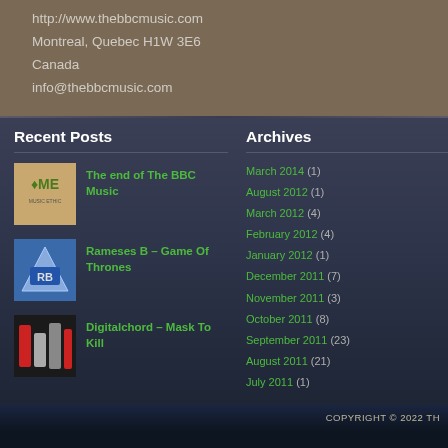http://www.thebbcmusic.com
Montreal, Quebec H1W 3E6
Canada
info@thebbcmusic.com
Recent Posts
The end of The BBC Music
Rameses B – Game Of Thrones
Digitalchord – Mask To Kill
Archives
March 2014 (1)
August 2012 (1)
March 2012 (4)
February 2012 (4)
January 2012 (1)
December 2011 (7)
November 2011 (3)
October 2011 (8)
September 2011 (23)
August 2011 (21)
July 2011 (1)
COPYRIGHT © 2022 TH